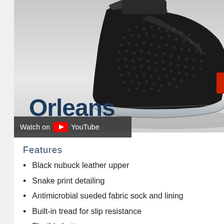[Figure (photo): Close-up photo of a black snake-print nubuck leather slip-on shoe (Orleans) with a light grey sole, worn on a foot against a white/grey background. A red tab is visible on the heel of the shoe.]
Orleans
[Figure (screenshot): Dark grey YouTube watch bar with text 'Watch on' followed by YouTube logo icon and 'YouTube' text in white.]
Features
Black nubuck leather upper
Snake print detailing
Antimicrobial sueded fabric sock and lining
Built-in tread for slip resistance
Flexible bottom